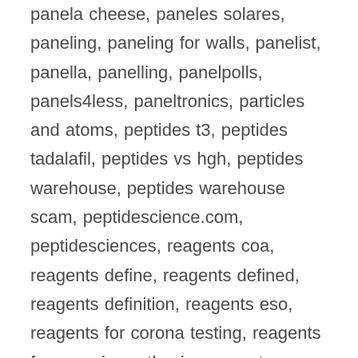panela cheese, paneles solares, paneling, paneling for walls, panelist, panella, panelling, panelpolls, panels4less, paneltronics, particles and atoms, peptides t3, peptides tadalafil, peptides vs hgh, peptides warehouse, peptides warehouse scam, peptidescience.com, peptidesciences, reagents coa, reagents define, reagents defined, reagents definition, reagents eso, reagents for corona testing, reagents for organic synthesis, reagents nc, reagents needed for covid-19 test, reagents qc, reagents s.a, reagents sds, reagents that break double bonds, reagents undercity, reagents used for pcr, reagents usp, reagents vendor, reagents vendor